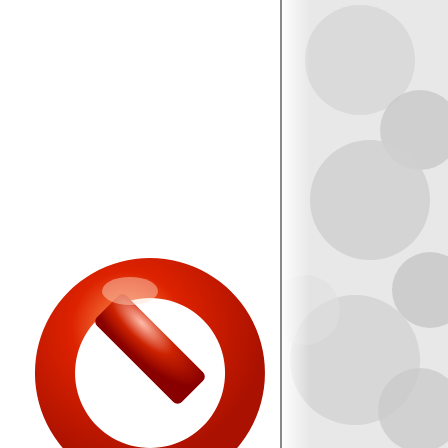resources provided in this site are not intended and must not be taken to be the rendering of medical advice or the practice of professional services in any jurisdiction.
Please see our Notice of Privacy Practices and other materials supplied on our forms page for additional notifications from the medical practice, and the Privacy Policy and Terms & Conditionslinked in the footer of this site for more information about this website, what information we collect, and how we use that information. This website may contain links to other sites. Boston Acne Specialists makes no representations, guarantees or promises regarding these other sites, which are not controlled by or affiliated with us.
[Figure (illustration): Red and orange 3D no-sign / prohibition icon (circle with diagonal bar), viewed from above at an angle, partially cropped at bottom of page]